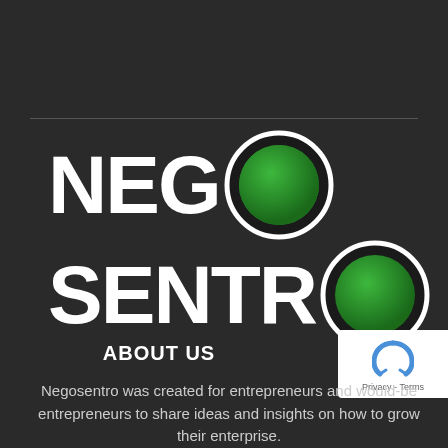[Figure (logo): Negosentro logo: bold white text 'NEG' and 'SENTR' with a large green circle replacing the letter 'O', on a dark background]
ABOUT US
Negosentro was created for entrepreneurs and would-be entrepreneurs to share ideas and insights on how to grow their enterprise.